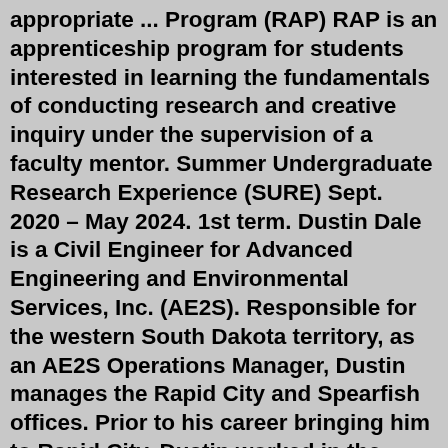appropriate ... Program (RAP) RAP is an apprenticeship program for students interested in learning the fundamentals of conducting research and creative inquiry under the supervision of a faculty mentor. Summer Undergraduate Research Experience (SURE) Sept. 2020 – May 2024. 1st term. Dustin Dale is a Civil Engineer for Advanced Engineering and Environmental Services, Inc. (AE2S). Responsible for the western South Dakota territory, as an AE2S Operations Manager, Dustin manages the Rapid City and Spearfish offices. Prior to his career bringing him to Rapid City, Dustin worked in the AE2S ... Live. Stay up-to-date with the latest free music opportunities from around the world and apply to play festivals and events with our opportunities map, regularly updated with new gig opportunities and music competitions. Find opportunities for unsigned bands, solo artists and DJs across the UK, USA, Australia and beyond.Benefits. We are looking forward to you joining us. We know